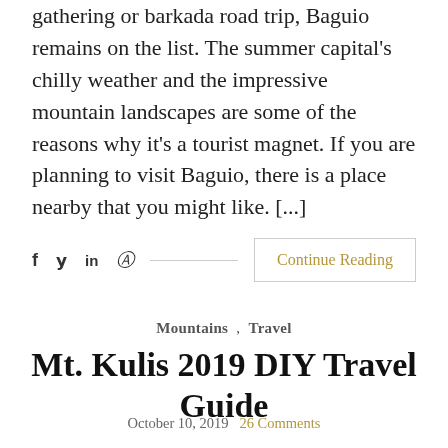gathering or barkada road trip, Baguio remains on the list. The summer capital's chilly weather and the impressive mountain landscapes are some of the reasons why it's a tourist magnet. If you are planning to visit Baguio, there is a place nearby that you might like. [...]
f  y  in  ☞  ——————————————————  Continue Reading
Mountains  ,  Travel
Mt. Kulis 2019 DIY Travel Guide
October 10, 2019  26 Comments